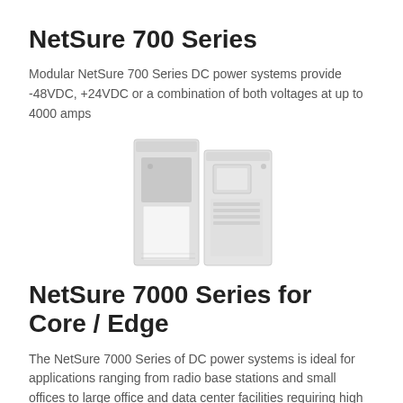NetSure 700 Series
Modular NetSure 700 Series DC power systems provide -48VDC, +24VDC or a combination of both voltages at up to 4000 amps
[Figure (photo): Two tall server/power cabinet units side by side, rendered in light gray tones]
NetSure 7000 Series for Core / Edge
The NetSure 7000 Series of DC power systems is ideal for applications ranging from radio base stations and small offices to large office and data center facilities requiring high power efficiency, reliability and system availability in a small footprint.